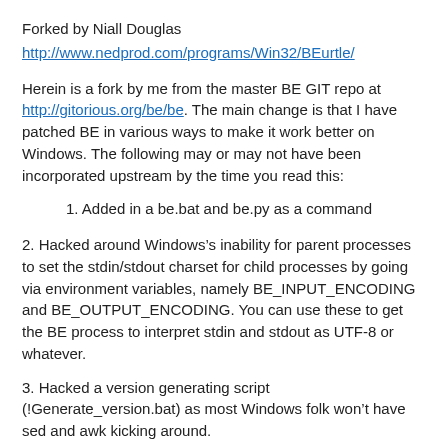Forked by Niall Douglas
http://www.nedprod.com/programs/Win32/BEurtle/
Herein is a fork by me from the master BE GIT repo at http://gitorious.org/be/be. The main change is that I have patched BE in various ways to make it work better on Windows. The following may or may not have been incorporated upstream by the time you read this:
1. Added in a be.bat and be.py as a command
2. Hacked around Windows’s inability for parent processes to set the stdin/stdout charset for child processes by going via environment variables, namely BE_INPUT_ENCODING and BE_OUTPUT_ENCODING. You can use these to get the BE process to interpret stdin and stdout as UTF-8 or whatever.
3. Hacked a version generating script (!Generate_version.bat) as most Windows folk won’t have sed and awk kicking around.
4. Made several hacks to enable BE running from within a ZIP archive. This lets you package up BE into a self-contained